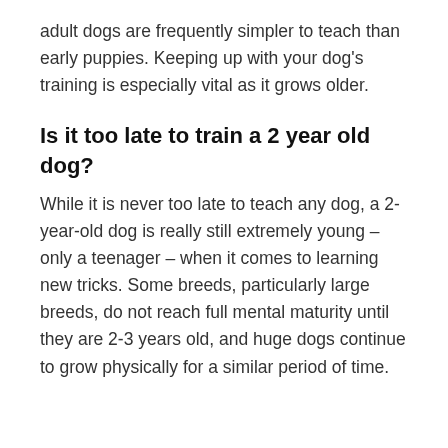adult dogs are frequently simpler to teach than early puppies. Keeping up with your dog's training is especially vital as it grows older.
Is it too late to train a 2 year old dog?
While it is never too late to teach any dog, a 2-year-old dog is really still extremely young – only a teenager – when it comes to learning new tricks. Some breeds, particularly large breeds, do not reach full mental maturity until they are 2-3 years old, and huge dogs continue to grow physically for a similar period of time.